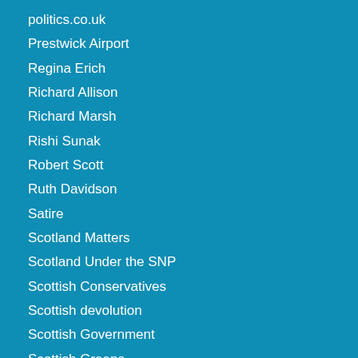politics.co.uk
Prestwick Airport
Regina Erich
Richard Allison
Richard Marsh
Rishi Sunak
Robert Scott
Ruth Davidson
Satire
Scotland Matters
Scotland Under the SNP
Scottish Conservatives
Scottish devolution
Scottish Government
Scottish Greens
Scottish Independence
Scottish Labour